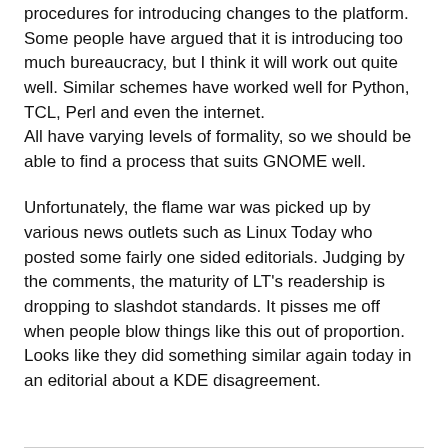procedures for introducing changes to the platform. Some people have argued that it is introducing too much bureaucracy, but I think it will work out quite well. Similar schemes have worked well for Python, TCL, Perl and even the internet.
All have varying levels of formality, so we should be able to find a process that suits GNOME well.
Unfortunately, the flame war was picked up by various news outlets such as Linux Today who posted some fairly one sided editorials. Judging by the comments, the maturity of LT's readership is dropping to slashdot standards. It pisses me off when people blow things like this out of proportion. Looks like they did something similar again today in an editorial about a KDE disagreement.